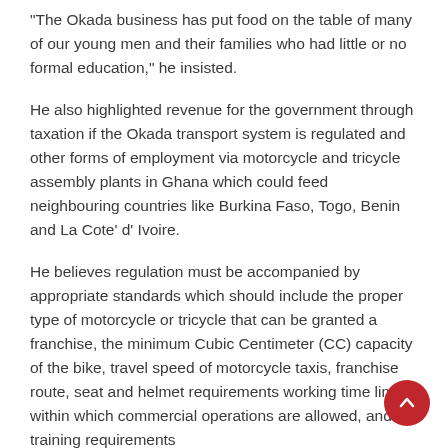“The Okada business has put food on the table of many of our young men and their families who had little or no formal education,” he insisted.
He also highlighted revenue for the government through taxation if the Okada transport system is regulated and other forms of employment via motorcycle and tricycle assembly plants in Ghana which could feed neighbouring countries like Burkina Faso, Togo, Benin and La Cote’ d’ Ivoire.
He believes regulation must be accompanied by appropriate standards which should include the proper type of motorcycle or tricycle that can be granted a franchise, the minimum Cubic Centimeter (CC) capacity of the bike, travel speed of motorcycle taxis, franchise route, seat and helmet requirements working time limits within which commercial operations are allowed, and training requirements